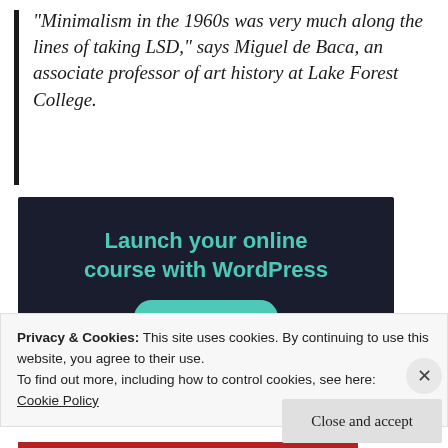“Minimalism in the 1960s was very much along the lines of taking LSD,” says Miguel de Baca, an associate professor of art history at Lake Forest College.
[Figure (other): Advertisement banner with dark navy background. Text reads 'Launch your online course with WordPress' in teal/green color, with a teal 'Learn More' button below.]
Privacy & Cookies: This site uses cookies. By continuing to use this website, you agree to their use.
To find out more, including how to control cookies, see here:
Cookie Policy
Close and accept